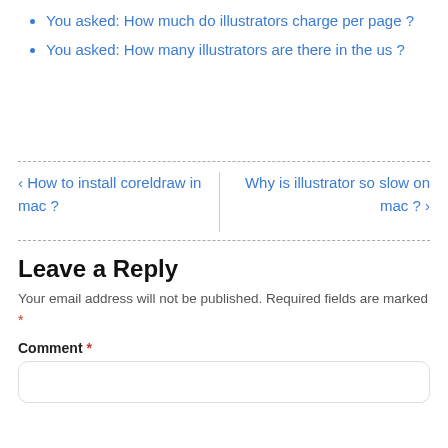You asked: How much do illustrators charge per page ?
You asked: How many illustrators are there in the us ?
< How to install coreldraw in mac ?
Why is illustrator so slow on mac ? >
Leave a Reply
Your email address will not be published. Required fields are marked *
Comment *